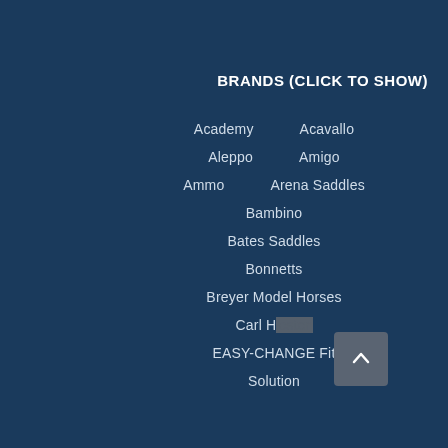BRANDS (CLICK TO SHOW)
Academy
Acavallo
Aleppo
Amigo
Ammo
Arena Saddles
Bambino
Bates Saddles
Bonnetts
Breyer Model Horses
Carl Hester
EASY-CHANGE Fit Solution